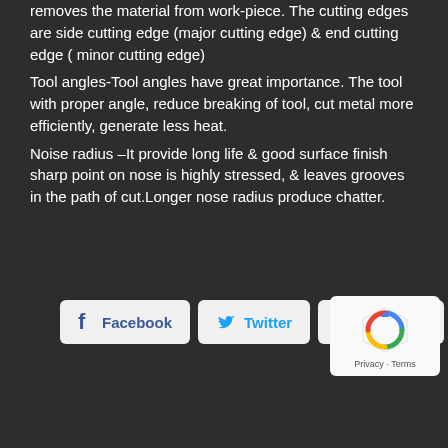Cutting edge – it is the edge on face of the tool which removes the material from work-piece. The cutting edges are side cutting edge (major cutting edge) & end cutting edge ( minor cutting edge)
Tool angles-Tool angles have great importance. The tool with proper angle, reduce breaking of tool, cut metal more efficiently, generate less heat.
Noise radius –It provide long life & good surface finish sharp point on nose is highly stressed, & leaves grooves in the path of cut.Longer nose radius produce chatter.
[Figure (other): Social sharing buttons: Facebook, Twitter, LinkedIn, and a reCAPTCHA widget]